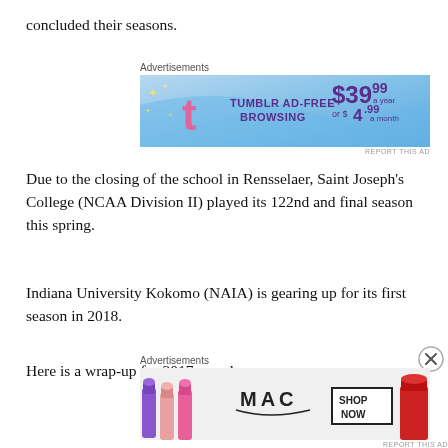concluded their seasons.
[Figure (screenshot): Tumblr AD-FREE BROWSING advertisement banner: $39.99 a year or $4.99 a month]
Due to the closing of the school in Rensselaer, Saint Joseph’s College (NCAA Division II) played its 122nd and final season this spring.
Indiana University Kokomo (NAIA) is gearing up for its first season in 2018.
Here is a wrap-up for 2017 squads:
[Figure (screenshot): MAC cosmetics advertisement banner with lipsticks and SHOP NOW button]